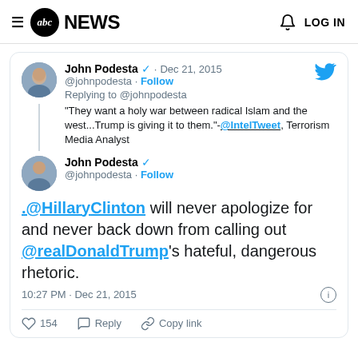abc NEWS  LOG IN
[Figure (screenshot): Tweet by John Podesta (@johnpodesta) dated Dec 21, 2015. Replying to @johnpodesta: "They want a holy war between radical Islam and the west...Trump is giving it to them."-@IntelTweet, Terrorism Media Analyst. Second tweet by John Podesta (@johnpodesta): .@HillaryClinton will never apologize for and never back down from calling out @realDonaldTrump's hateful, dangerous rhetoric. 10:27 PM · Dec 21, 2015. 154 likes, Reply, Copy link.]